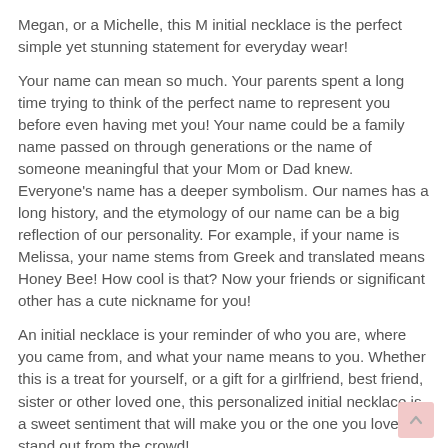Megan, or a Michelle, this M initial necklace is the perfect simple yet stunning statement for everyday wear!
Your name can mean so much. Your parents spent a long time trying to think of the perfect name to represent you before even having met you! Your name could be a family name passed on through generations or the name of someone meaningful that your Mom or Dad knew. Everyone's name has a deeper symbolism. Our names has a long history, and the etymology of our name can be a big reflection of our personality. For example, if your name is Melissa, your name stems from Greek and translated means Honey Bee! How cool is that? Now your friends or significant other has a cute nickname for you!
An initial necklace is your reminder of who you are, where you came from, and what your name means to you. Whether this is a treat for yourself, or a gift for a girlfriend, best friend, sister or other loved one, this personalized initial necklace is a sweet sentiment that will make you or the one you love stand out from the crowd!
Shop our Initial Necklace Collection!